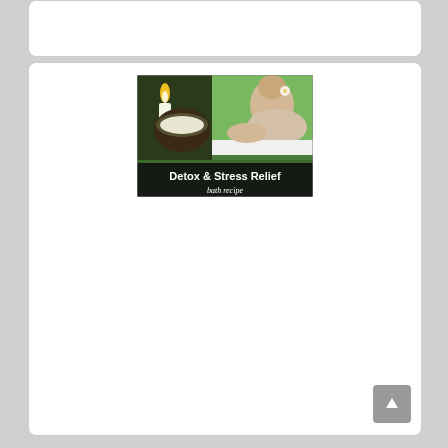[Figure (photo): Detox & Stress Relief bath recipe image showing a woman relaxing in a bath with candles and tropical foliage, with text overlay reading 'Detox & Stress Relief bath recipe']